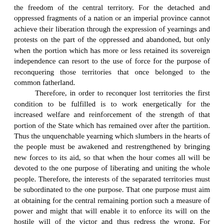the freedom of the central territory. For the detached and oppressed fragments of a nation or an imperial province cannot achieve their liberation through the expression of yearnings and protests on the part of the oppressed and abandoned, but only when the portion which has more or less retained its sovereign independence can resort to the use of force for the purpose of reconquering those territories that once belonged to the common fatherland.
	Therefore, in order to reconquer lost territories the first condition to be fulfilled is to work energetically for the increased welfare and reinforcement of the strength of that portion of the State which has remained over after the partition. Thus the unquenchable yearning which slumbers in the hearts of the people must be awakened and restrengthened by bringing new forces to its aid, so that when the hour comes all will be devoted to the one purpose of liberating and uniting the whole people. Therefore, the interests of the separated territories must be subordinated to the one purpose. That one purpose must aim at obtaining for the central remaining portion such a measure of power and might that will enable it to enforce its will on the hostile will of the victor and thus redress the wrong. For flaming protests will not restore the oppressed territories to the bosom of a common Reich. That can be done only through the might of the sword.
	The forging of this sword is a work that has to be done through the domestic policy which must be adopted by a national government. To see that the work of forging these arms is assured.